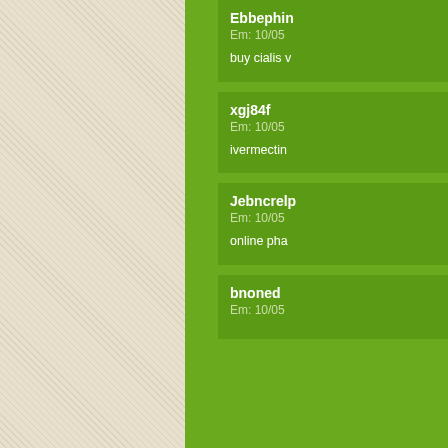[Figure (screenshot): Website screenshot showing a green content management or blog layout with a beige diagonal-striped sidebar on the left, a large green center panel, and a right sidebar showing comment entries with usernames, dates, and truncated comment text.]
Ebbephin
Em: 10/05
buy cialis v
xgj84f
Em: 10/05
ivermectin
Jebncrelp
Em: 10/05
online pha
bnoned
Em: 10/05